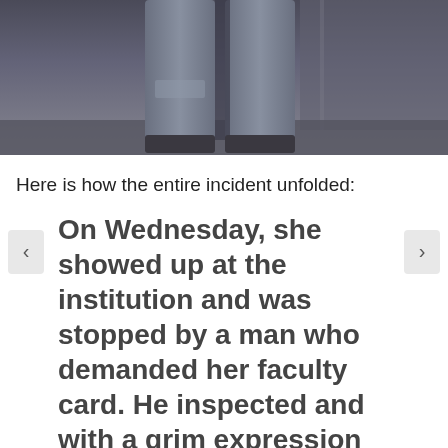[Figure (photo): Photo showing the lower half of a person wearing jeans, likely cropped from a full-body photo. Dark/moody background.]
Here is how the entire incident unfolded:
On Wednesday, she showed up at the institution and was stopped by a man who demanded her faculty card. He inspected and with a grim expression and told her that as a visiting faculty, she is not dressed according to